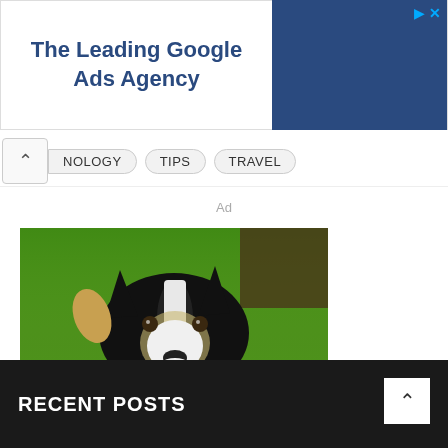[Figure (other): Advertisement banner: 'The Leading Google Ads Agency' text on left with dark blue rectangle on right, play and close icons top right]
NOLOGY   TIPS   TRAVEL
Ad
[Figure (photo): A black and white Border Collie dog running toward the camera on green grass, photographed outdoors.]
RECENT POSTS